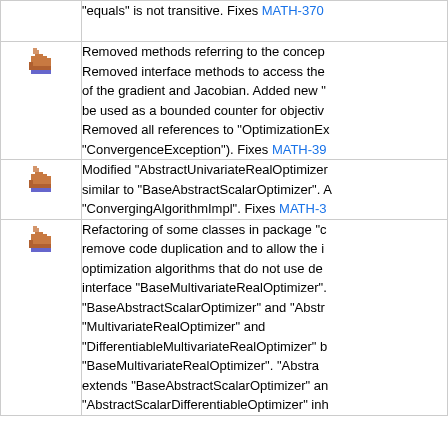"equals" is not transitive. Fixes MATH-370
Removed methods referring to the concept. Removed interface methods to access the of the gradient and Jacobian. Added new "be used as a bounded counter for objective. Removed all references to "OptimizationEx "ConvergenceException"). Fixes MATH-39
Modified "AbstractUnivariateRealOptimizer similar to "BaseAbstractScalarOptimizer". "ConvergingAlgorithmImpl". Fixes MATH-3
Refactoring of some classes in package "c remove code duplication and to allow the optimization algorithms that do not use der interface "BaseMultivariateRealOptimizer". "BaseAbstractScalarOptimizer" and "Abstr "MultivariateRealOptimizer" and "DifferentiableMultivariateRealOptimizer" b "BaseMultivariateRealOptimizer". "Abstra extends "BaseAbstractScalarOptimizer" an "AbstractScalarDifferentiableOptimizer" inh